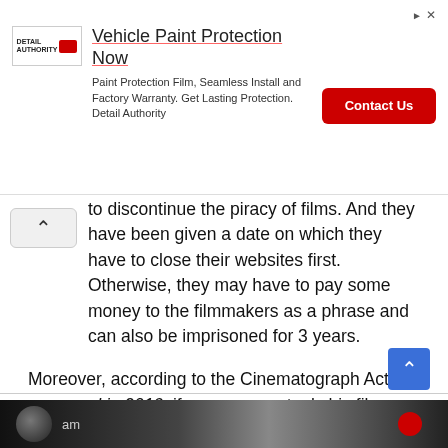[Figure (infographic): Advertisement banner: Vehicle Paint Protection Now. Detail Authority logo. Paint Protection Film, Seamless Install and Factory Warranty. Get Lasting Protection. Detail Authority. Red Contact Us button. Ad label top right.]
to discontinue the piracy of films. And they have been given a date on which they have to close their websites first. Otherwise, they may have to pay some money to the filmmakers as a phrase and can also be imprisoned for 3 years.
Moreover, according to the Cinematograph Act approved in 2019, if any person steals his film without the written consent of the producer or if any user is found downloading or streaming movies from such a website, then the government can give him up to 3years. Can be punished and can be charged a fine from 50000 to 1000000 rupees. A few days ago, Google banned the Website of Happy2Hub. Due to this new Malayalam is not made available on this site right now.
[Figure (photo): Bottom strip showing a partial image, dark background with a circular avatar silhouette and red circular element on the right side.]